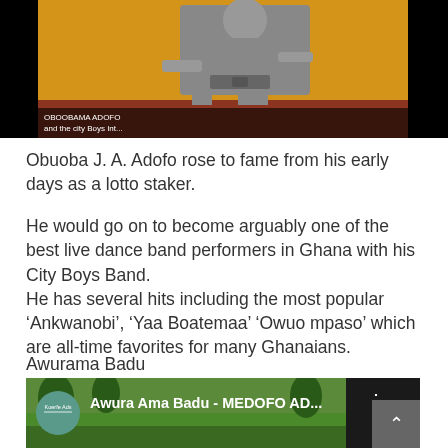[Figure (photo): A bronze or stone statue of a person against a yellow and red/brown wall background, with a caption bar reading 'OBOOBAMA ADOFO and the city Boys Int...']
Obuoba J. A. Adofo rose to fame from his early days as a lotto staker.
He would go on to become arguably one of the best live dance band performers in Ghana with his City Boys Band.
He has several hits including the most popular ‘Ankwanobi’, ‘Yaa Boatemaa’ ‘Owuo mpaso’ which are all-time favorites for many Ghanaians.
Awurama Badu
[Figure (screenshot): YouTube video thumbnail showing 'Awura Ama Badu - MEDOFO AD...' with a Koerfe Ads channel icon and a person on a grassy area]